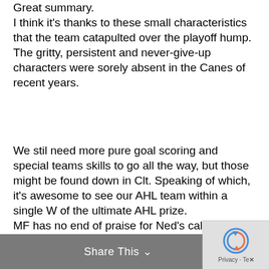Great summary.
I think it's thanks to these small characteristics that the team catapulted over the playoff hump.
The gritty, persistent and never-give-up characters were sorely absent in the Canes of recent years.
We stil need more pure goal scoring and special teams skills to go all the way, but those might be found down in Clt. Speaking of which, it's awesome to see our AHL team within a single W of the ultimate AHL prize.
MF has no end of praise for Ned's calm professionalism, puck handling and work ethic.
Share This